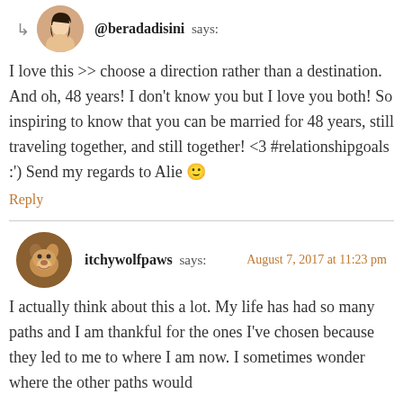@beradadisini says:
I love this >> choose a direction rather than a destination. And oh, 48 years! I don't know you but I love you both! So inspiring to know that you can be married for 48 years, still traveling together, and still together! <3 #relationshipgoals :') Send my regards to Alie 🙂
Reply
itchywolfpaws says: August 7, 2017 at 11:23 pm
I actually think about this a lot. My life has had so many paths and I am thankful for the ones I've chosen because they led to me to where I am now. I sometimes wonder where the other paths would